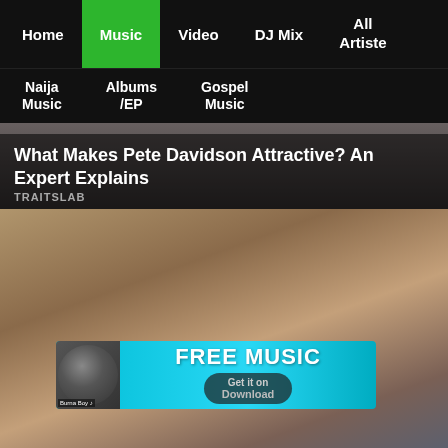Home | Music | Video | DJ Mix | All Artiste | Naija Music | Albums /EP | Gospel Music
What Makes Pete Davidson Attractive? An Expert Explains
TRAITSLAB
[Figure (photo): Photo of a woman (Jennifer Lopez) posing with hand raised to head, wearing hoop earrings and a choker necklace, with a Free Music promotional banner overlay showing Burna Boy thumbnail and 'FREE MUSIC / Get it on' text]
Jennifer Lopez's Fitness Secrets Revealed